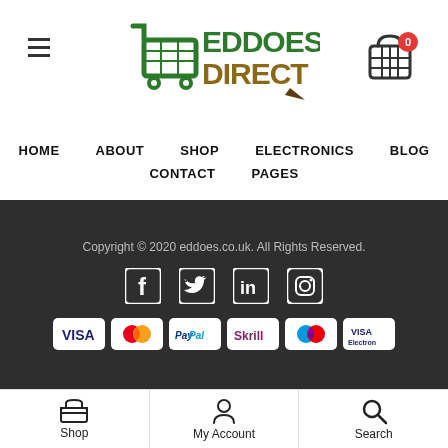[Figure (logo): Eddoes Direct shopping cart logo with green and brown text]
HOME  ABOUT  SHOP  ELECTRONICS  BLOG  CONTACT  PAGES
Copyright © 2020 eddoes.co.uk. All Rights Reserved.
[Figure (infographic): Social media icons: Facebook, Twitter, LinkedIn, Instagram]
[Figure (infographic): Payment method badges: VISA, Mastercard, PayPal, Skrill, Maestro, VISA Electron]
Shop  My Account  Search